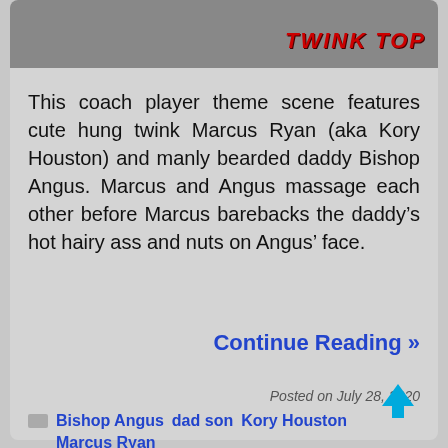[Figure (photo): Cropped photo showing partial view of two people, with 'TWINK TOP' text overlay in red on the right side]
This coach player theme scene features cute hung twink Marcus Ryan (aka Kory Houston) and manly bearded daddy Bishop Angus. Marcus and Angus massage each other before Marcus barebacks the daddy’s hot hairy ass and nuts on Angus’ face.
Continue Reading »
Posted on July 28, 2020
Bishop Angus
dad son
Kory Houston
Marcus Ryan